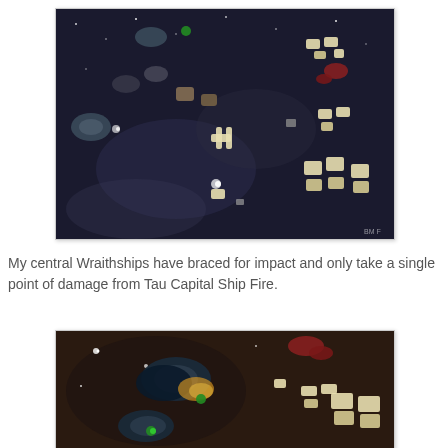[Figure (photo): Tabletop space battle game with miniature spaceships on a dark starfield mat. Cream/beige colored Tau ships on the right side and darker Eldar Wraithships and other miniatures on the left, scattered across a black space background with stars and nebula effects.]
My central Wraithships have braced for impact and only take a single point of damage from Tau Capital Ship Fire.
[Figure (photo): Close-up photo of tabletop space game miniatures. Dark blue/black Eldar Wraithships in the center-left with green markers, and cream/white Tau ships on the right side against a dark brown/black starfield game mat. Red debris markers visible.]